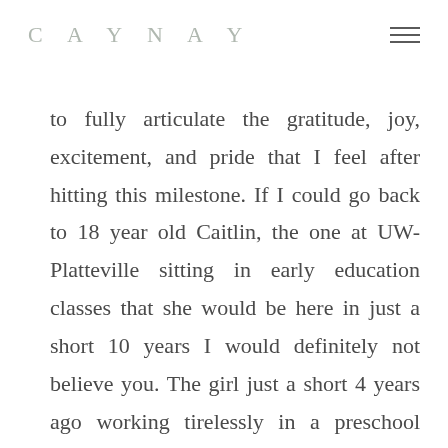CAYNAY
to fully articulate the gratitude, joy, excitement, and pride that I feel after hitting this milestone. If I could go back to 18 year old Caitlin, the one at UW-Platteville sitting in early education classes that she would be here in just a short 10 years I would definitely not believe you. The girl just a short 4 years ago working tirelessly in a preschool wanting so much more for her life. I would not